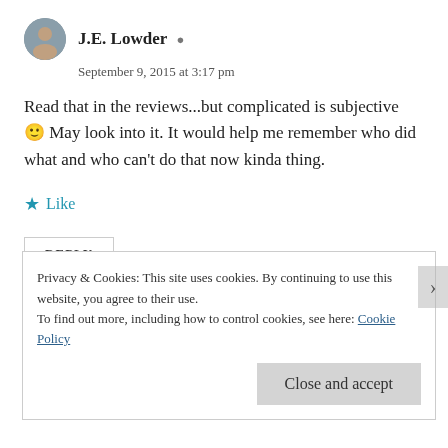J.E. Lowder
September 9, 2015 at 3:17 pm
Read that in the reviews...but complicated is subjective 🙂 May look into it. It would help me remember who did what and who can't do that now kinda thing.
★ Like
REPLY
Privacy & Cookies: This site uses cookies. By continuing to use this website, you agree to their use.
To find out more, including how to control cookies, see here: Cookie Policy
Close and accept